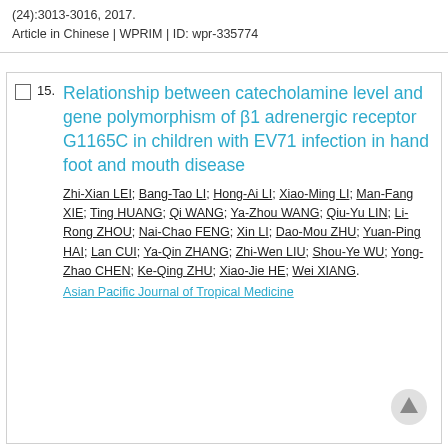(24):3013-3016, 2017.
Article in Chinese | WPRIM | ID: wpr-335774
15. Relationship between catecholamine level and gene polymorphism of β1 adrenergic receptor G1165C in children with EV71 infection in hand foot and mouth disease
Zhi-Xian LEI; Bang-Tao LI; Hong-Ai LI; Xiao-Ming LI; Man-Fang XIE; Ting HUANG; Qi WANG; Ya-Zhou WANG; Qiu-Yu LIN; Li-Rong ZHOU; Nai-Chao FENG; Xin LI; Dao-Mou ZHU; Yuan-Ping HAI; Lan CUI; Ya-Qin ZHANG; Zhi-Wen LIU; Shou-Ye WU; Yong-Zhao CHEN; Ke-Qing ZHU; Xiao-Jie HE; Wei XIANG.
Asian Pacific Journal of Tropical Medicine